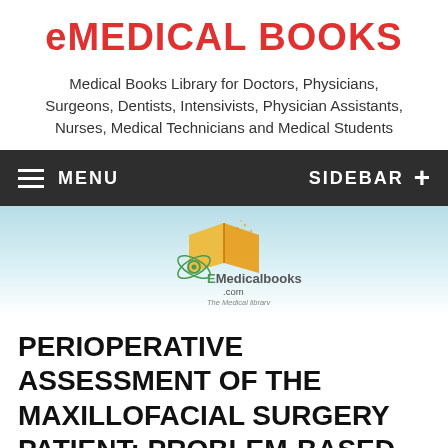eMEDICAL BOOKS
Medical Books Library for Doctors, Physicians, Surgeons, Dentists, Intensivists, Physician Assistants, Nurses, Medical Technicians and Medical Students
MENU   SIDEBAR +
[Figure (logo): EMedicalbooks.com logo with orange book and green atom/circle graphic and tagline 'The Medical library']
PERIOPERATIVE ASSESSMENT OF THE MAXILLOFACIAL SURGERY PATIENT: PROBLEM-BASED PATIENT MANAGEMENT 1ST ED